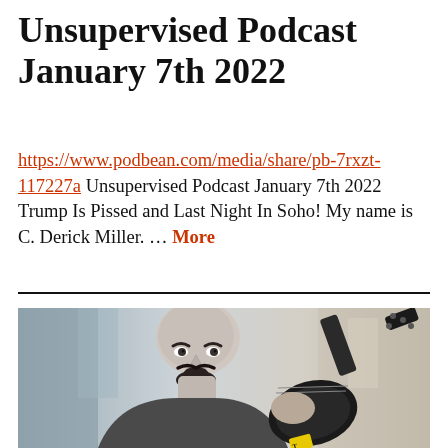Unsupervised Podcast January 7th 2022
https://www.podbean.com/media/share/pb-7rxzt-117227a Unsupervised Podcast January 7th 2022 Trump Is Pissed and Last Night In Soho! My name is C. Derick Miller. … More
[Figure (photo): Black and white stylized photo of a bald man with a goatee holding an electric guitar by its neck, with a blurred background.]